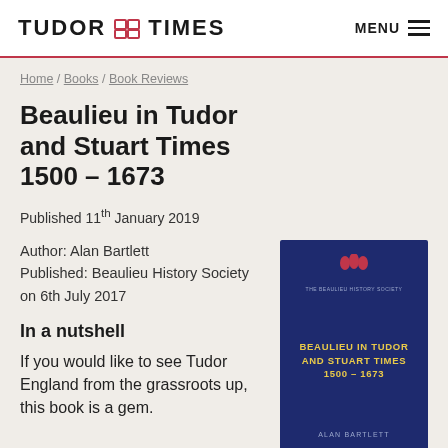TUDOR TIMES   MENU
Home / Books / Book Reviews
Beaulieu in Tudor and Stuart Times 1500 – 1673
Published 11th January 2019
Author: Alan Bartlett
Published: Beaulieu History Society on 6th July 2017
In a nutshell
If you would like to see Tudor England from the grassroots up, this book is a gem.
[Figure (photo): Book cover of 'Beaulieu in Tudor and Stuart Times 1500–1673' by Alan Bartlett, published by Beaulieu History Society. Dark navy blue cover with red emblem at top, gold title text in center, author name at bottom.]